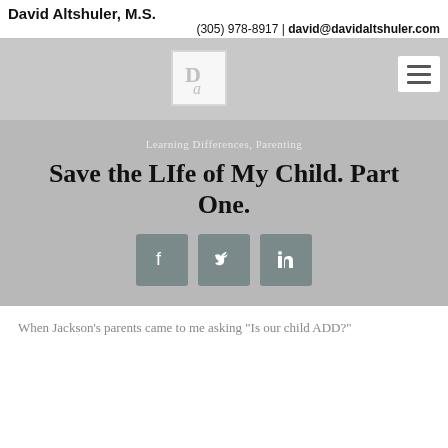David Altshuler, M.S.
(305) 978-8917 | david@davidaltshuler.com
[Figure (logo): Da logo in a white box on grey background with hamburger menu icon]
Learning Differences, Parenting
Save the LIfe of My Child. Part One.
[Figure (infographic): Three social media share buttons: Facebook, Twitter, LinkedIn]
When Jackson's parents came to me asking "Is our child ADD?"